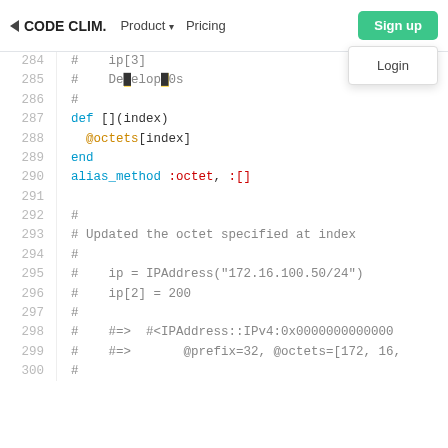CODE CLIMATE  Product  Pricing  Sign up  Login
[Figure (screenshot): Code Climate website screenshot showing a Ruby source code viewer with line numbers 284-300 and a navigation bar with Sign up and Login dropdown.]